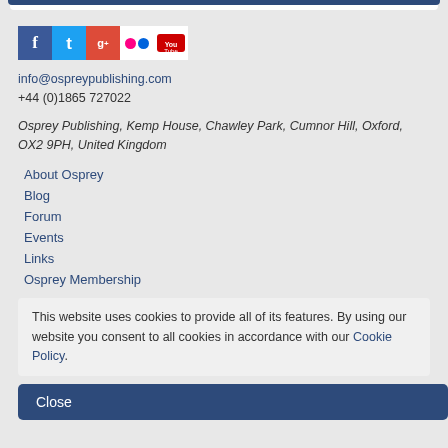[Figure (other): Social media icons row: Facebook, Twitter, Google+, Flickr, YouTube]
info@ospreypublishing.com
+44 (0)1865 727022
Osprey Publishing, Kemp House, Chawley Park, Cumnor Hill, Oxford, OX2 9PH, United Kingdom
About Osprey
Blog
Forum
Events
Links
Osprey Membership
This website uses cookies to provide all of its features. By using our website you consent to all cookies in accordance with our Cookie Policy.
Close